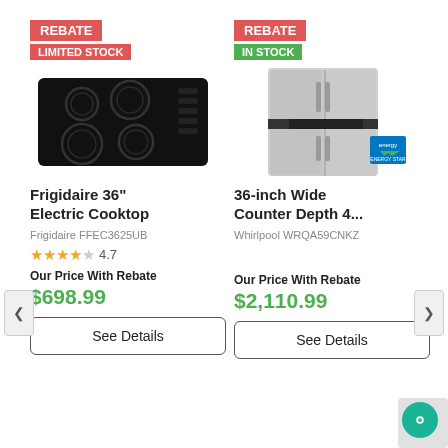[Figure (screenshot): Product listing page showing two appliances with rebate badges, product images, titles, model numbers, ratings, prices, and See Details buttons]
REBATE
LIMITED STOCK
[Figure (photo): Frigidaire 36-inch black electric cooktop with 5 burners]
Frigidaire 36" Electric Cooktop
Frigidaire FFEC3625UB
4.7
Our Price With Rebate
$698.99
See Details
REBATE
IN STOCK
[Figure (photo): Whirlpool 36-inch wide counter depth stainless steel side-by-side refrigerator with Energy Star badge]
36-inch Wide Counter Depth 4...
Whirlpool WRQA59CNKZ
Our Price With Rebate
$2,110.99
See Details